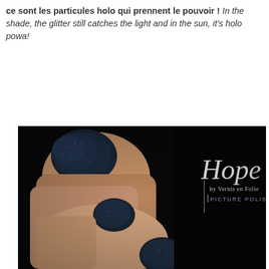ce sont les particules holo qui prennent le pouvoir ! In the shade, the glitter still catches the light and in the sun, it's holo powa!
[Figure (photo): Close-up photo of a hand with nails painted in dark navy/black holographic glitter nail polish (Hope by Vernis en Folie, Picture Polish), on a black background. The text 'Hope by Vernis en Folie PICTURE POLISH' appears on the right side of the image in white script and serif font.]